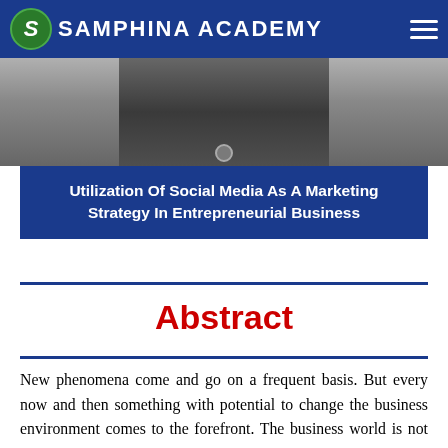Samphina Academy
[Figure (photo): Partial photo of a person in dark clothing, cropped at top]
Utilization Of Social Media As A Marketing Strategy In Entrepreneurial Business
Abstract
New phenomena come and go on a frequent basis. But every now and then something with potential to change the business environment comes to the forefront. The business world is not immune to any impact that comes its way. Social media is one such